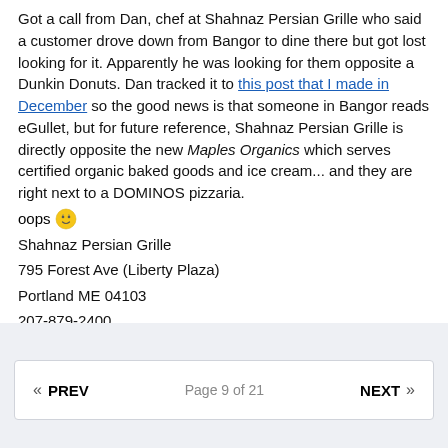Got a call from Dan, chef at Shahnaz Persian Grille who said a customer drove down from Bangor to dine there but got lost looking for it. Apparently he was looking for them opposite a Dunkin Donuts. Dan tracked it to this post that I made in December so the good news is that someone in Bangor reads eGullet, but for future reference, Shahnaz Persian Grille is directly opposite the new Maples Organics which serves certified organic baked goods and ice cream... and they are right next to a DOMINOS pizzaria.
oops 😊
Shahnaz Persian Grille
795 Forest Ave (Liberty Plaza)
Portland ME 04103
207-879-2400
« PREV   Page 9 of 21   NEXT »